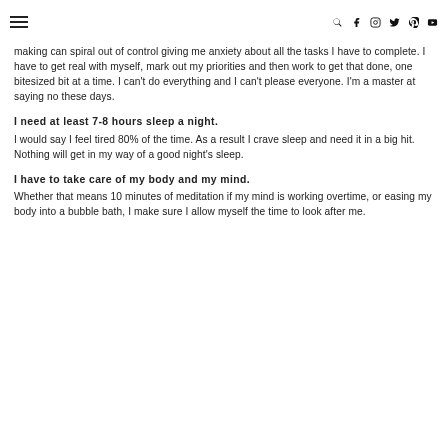☰  🔍 f ⊙ 🐦 p ▶
making can spiral out of control giving me anxiety about all the tasks I have to complete. I have to get real with myself, mark out my priorities and then work to get that done, one bitesized bit at a time. I can't do everything and I can't please everyone. I'm a master at saying no these days.
I need at least 7-8 hours sleep a night.
I would say I feel tired 80% of the time. As a result I crave sleep and need it in a big hit. Nothing will get in my way of a good night's sleep.
I have to take care of my body and my mind.
Whether that means 10 minutes of meditation if my mind is working overtime, or easing my body into a bubble bath, I make sure I allow myself the time to look after me.